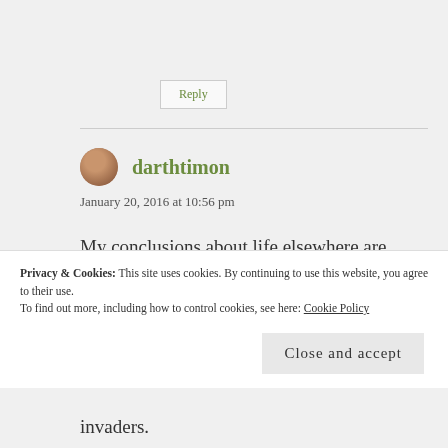Reply
[Figure (illustration): Avatar image of user darthtimon - circular profile photo with brownish tones]
darthtimon
January 20, 2016 at 10:56 pm
My conclusions about life elsewhere are based upon the observed age of the universe. I know that contradicts the age of universe as viewed via a literal interpretation of the Bible, but personally
invaders.
Privacy & Cookies: This site uses cookies. By continuing to use this website, you agree to their use.
To find out more, including how to control cookies, see here: Cookie Policy
Close and accept